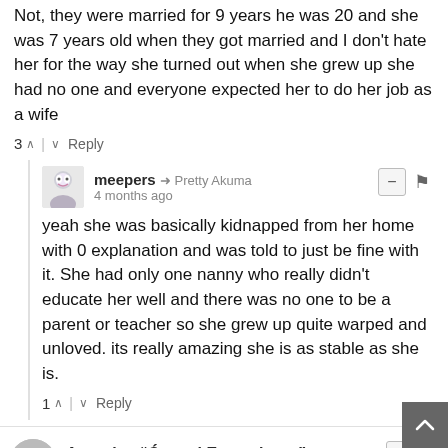Not, they were married for 9 years he was 20 and she was 7 years old when they got married and I don't hate her for the way she turned out when she grew up she had no one and everyone expected her to do her job as a wife
3 ∧ | ∨ Reply
meepers → Pretty Akuma
4 months ago
yeah she was basically kidnapped from her home with 0 explanation and was told to just be fine with it. She had only one nanny who really didn't educate her well and there was no one to be a parent or teacher so she grew up quite warped and unloved. its really amazing she is as stable as she is.
1 ∧ | ∨ Reply
Aquarius "Ćrystal Executioner"
5 months ago
IT LOOKS GREAT DW ABOUT THE OTHER COMMENTS I LOVE THE WAY ITS GOING
11 ∧ | ∨ Reply